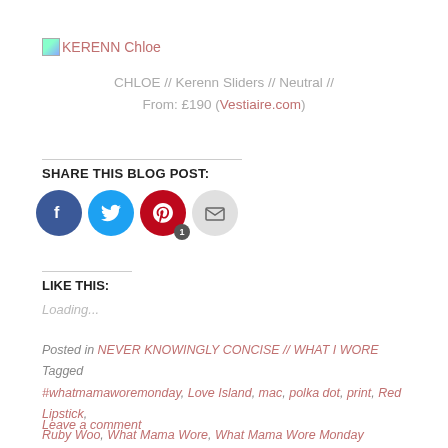[Figure (logo): Small image placeholder icon followed by text 'KERENN Chloe' in salmon/pink color]
CHLOE // Kerenn Sliders // Neutral // From: £190 (Vestiaire.com)
SHARE THIS BLOG POST:
[Figure (infographic): Four social share buttons: Facebook (blue circle with f icon), Twitter (blue circle with bird icon), Pinterest (red circle with P icon and badge '1'), Email (grey circle with envelope icon)]
LIKE THIS:
Loading...
Posted in NEVER KNOWINGLY CONCISE // WHAT I WORE   Tagged #whatmamaworemonday, Love Island, mac, polka dot, print, Red Lipstick, Ruby Woo, What Mama Wore, What Mama Wore Monday
Leave a comment